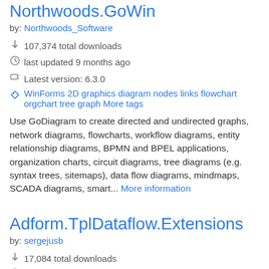Northwoods.GoWin
by: Northwoods_Software
107,374 total downloads
last updated 9 months ago
Latest version: 6.3.0
WinForms 2D graphics diagram nodes links flowchart orgchart tree graph More tags
Use GoDiagram to create directed and undirected graphs, network diagrams, flowcharts, workflow diagrams, entity relationship diagrams, BPMN and BPEL applications, organization charts, circuit diagrams, tree diagrams (e.g. syntax trees, sitemaps), data flow diagrams, mindmaps, SCADA diagrams, smart... More information
Adform.TplDataflow.Extensions
by: sergejusb
17,084 total downloads
last updated 2/15/2014
Latest version: 0.2.10
TPL Task Dataflow Async Extensions